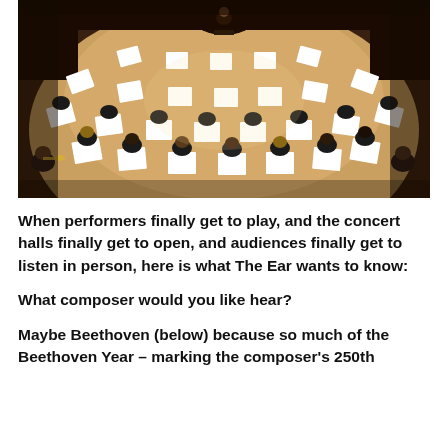[Figure (photo): Aerial view of a full orchestra performing in a concert hall, musicians in black clothing seated in a semicircle with white sheet music stands, viewed from above.]
When performers finally get to play, and the concert halls finally get to open, and audiences finally get to listen in person, here is what The Ear wants to know:
What composer would you like hear?
Maybe Beethoven (below) because so much of the Beethoven Year – marking the composer's 250th